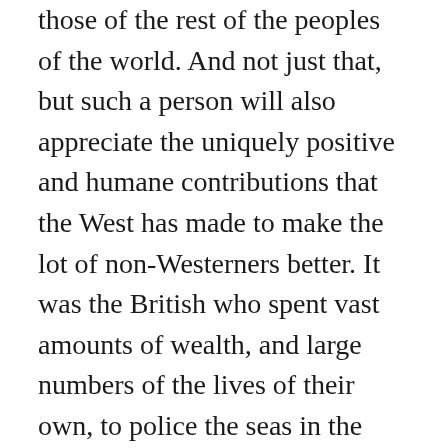those of the rest of the peoples of the world. And not just that, but such a person will also appreciate the uniquely positive and humane contributions that the West has made to make the lot of non-Westerners better. It was the British who spent vast amounts of wealth, and large numbers of the lives of their own, to police the seas in the 19th century to put an end to the slave trade. Yes, the British engaged in it before, like almost all other peoples. But it was they, and not the Chinese, Indians, Muslims or Africans who developed an anti-slavery ideology that ensured that slavery would be abolished throughout the world. But to those who are moved by hate against the West, this is irrelevant. The West is evil, and the facts do not